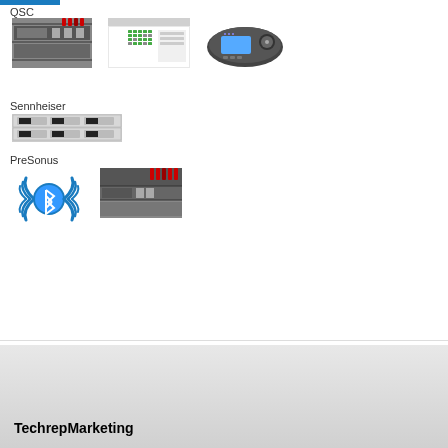QSC
[Figure (photo): QSC audio equipment rack unit photo]
[Figure (screenshot): QSC software routing matrix screenshot]
[Figure (photo): QSC digital mixer/controller device]
Sennheiser
[Figure (photo): Sennheiser wireless rack receiver units]
PreSonus
[Figure (illustration): Bluetooth wireless icon illustration]
[Figure (photo): PreSonus audio equipment photo]
TechrepMarketing